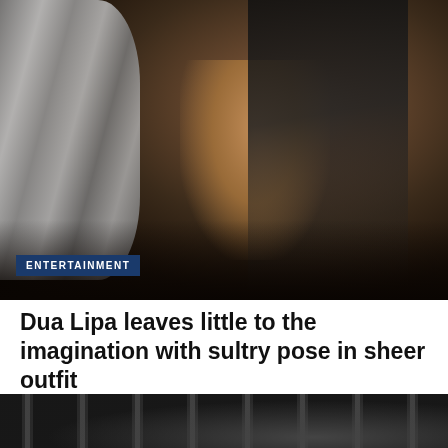[Figure (photo): Dark moody photo of a woman (Dua Lipa) posing with a metallic silver sculptural element on the left, dark background, with an ENTERTAINMENT category badge in the lower left corner]
Dua Lipa leaves little to the imagination with sultry pose in sheer outfit
AUGUST 24, 2022
[Figure (photo): Partial bottom photo showing dark striped or draped fabric/outfit, partially cropped at bottom of page]